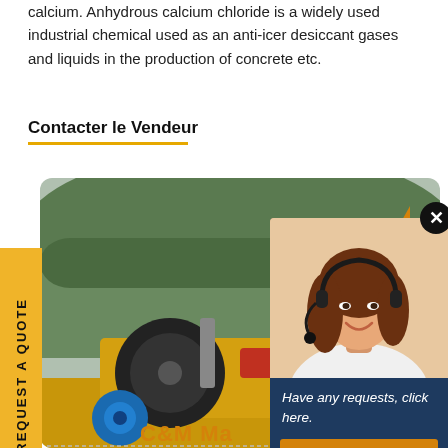calcium. Anhydrous calcium chloride is a widely used industrial chemical used as an anti-icer desiccant gases and liquids in the production of concrete etc.
Contacter le Vendeur
[Figure (photo): Industrial machinery (crusher or mill) with large metal wheels/drums, yellow frame, blue components, set against green forested hills. Logo reads C&M Ma...]
[Figure (photo): Customer service representative woman with headset smiling, popup overlay with text 'Have any requests, click here.' and a Quotation button, on dark blue background. Popup has orange triangle decoration and close button.]